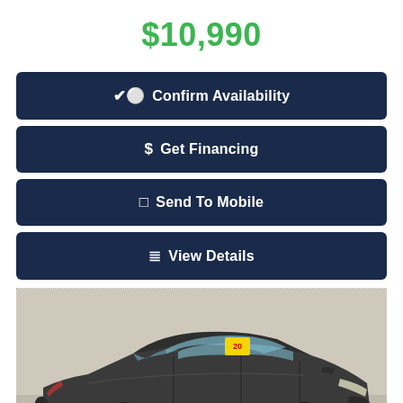$10,990
✓ Confirm Availability
$ Get Financing
□ Send To Mobile
≡ View Details
[Figure (photo): A dark gray sedan (Nissan Altima or similar) photographed from the front-left angle in a dealership setting. A yellow price sticker is visible on the windshield. The car has black wheels and is shown against a light beige/gray background.]